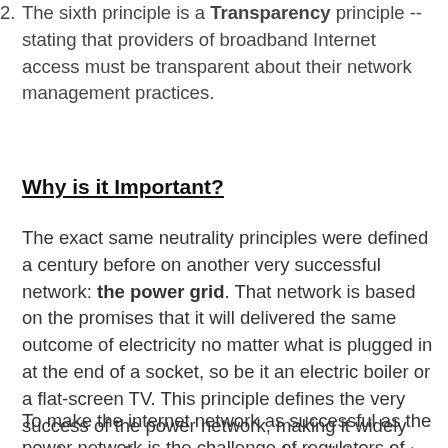2. The sixth principle is a Transparency principle -- stating that providers of broadband Internet access must be transparent about their network management practices.
Why is it Important?
The exact same neutrality principles were defined a century before on another very successful network: the power grid. That network is based on the promises that it will delivered the same outcome of electricity no matter what is plugged in at the end of a socket, so be it an electric boiler or a flat-screen TV. This principle defines the very success of the power network, making it widely used, spreading around the world, building what we call today a business ecosystem around itself and encouraging waves of constant innovations across ages.
To make the internet network as successful as the power network is the challenge of regulators of the world today. And